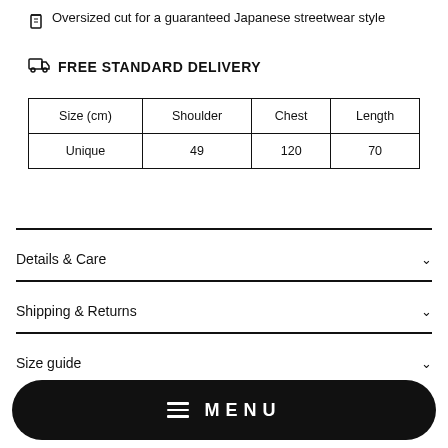Oversized cut for a guaranteed Japanese streetwear style
FREE STANDARD DELIVERY
| Size (cm) | Shoulder | Chest | Length |
| --- | --- | --- | --- |
| Unique | 49 | 120 | 70 |
Details & Care
Shipping & Returns
Size guide
MENU